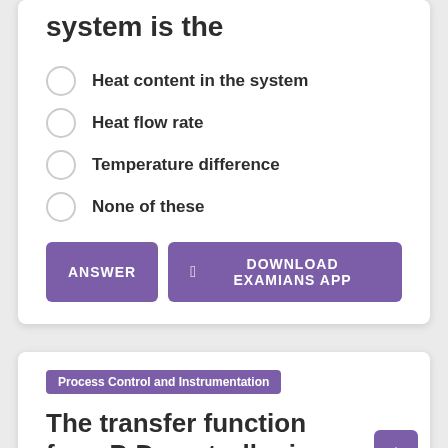system is the
Heat content in the system
Heat flow rate
Temperature difference
None of these
ANSWER | DOWNLOAD EXAMIANS APP
Process Control and Instrumentation
The transfer function for a P-D controller is